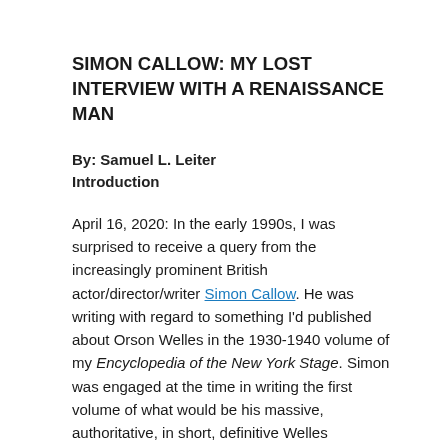SIMON CALLOW: MY LOST INTERVIEW WITH A RENAISSANCE MAN
By: Samuel L. Leiter
Introduction
April 16, 2020: In the early 1990s, I was surprised to receive a query from the increasingly prominent British actor/director/writer Simon Callow. He was writing with regard to something I'd published about Orson Welles in the 1930-1940 volume of my Encyclopedia of the New York Stage. Simon was engaged at the time in writing the first volume of what would be his massive, authoritative, in short, definitive Welles biography, whose fourth and final volume is only now nearing publication.